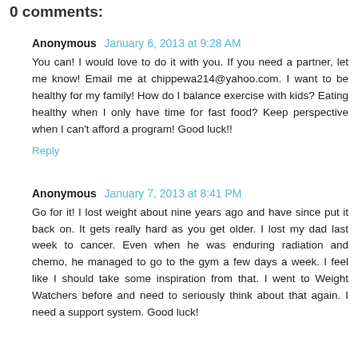0 comments:
Anonymous  January 6, 2013 at 9:28 AM
You can! I would love to do it with you. If you need a partner, let me know! Email me at chippewa214@yahoo.com. I want to be healthy for my family! How do I balance exercise with kids? Eating healthy when I only have time for fast food? Keep perspective when I can't afford a program! Good luck!!
Reply
Anonymous  January 7, 2013 at 8:41 PM
Go for it! I lost weight about nine years ago and have since put it back on. It gets really hard as you get older. I lost my dad last week to cancer. Even when he was enduring radiation and chemo, he managed to go to the gym a few days a week. I feel like I should take some inspiration from that. I went to Weight Watchers before and need to seriously think about that again. I need a support system. Good luck!